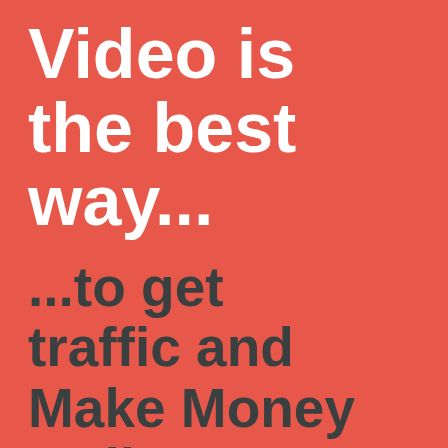Video is the best way...
...to get traffic and Make Money Online!